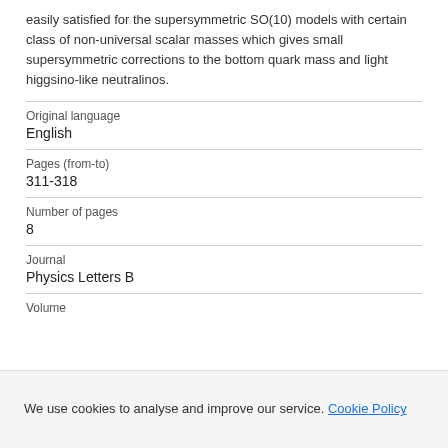easily satisfied for the supersymmetric SO(10) models with certain class of non-universal scalar masses which gives small supersymmetric corrections to the bottom quark mass and light higgsino-like neutralinos.
| Original language | English |
| Pages (from-to) | 311-318 |
| Number of pages | 8 |
| Journal | Physics Letters B |
| Volume |  |
We use cookies to analyse and improve our service. Cookie Policy